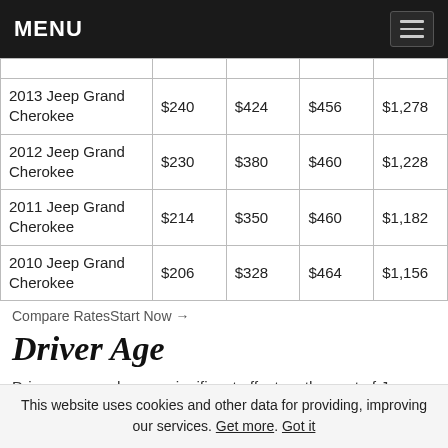MENU
|  |  |  |  |  |
| --- | --- | --- | --- | --- |
| 2013 Jeep Grand Cherokee | $240 | $424 | $456 | $1,278 |
| 2012 Jeep Grand Cherokee | $230 | $380 | $460 | $1,228 |
| 2011 Jeep Grand Cherokee | $214 | $350 | $460 | $1,182 |
| 2010 Jeep Grand Cherokee | $206 | $328 | $464 | $1,156 |
Compare RatesStart Now →
Driver Age
Driver age can have a significant effect on the cost of Jeep Grand Cherokee car insurance. For example, a 20 year old...
This website uses cookies and other data for providing, improving our services. Get more. Got it